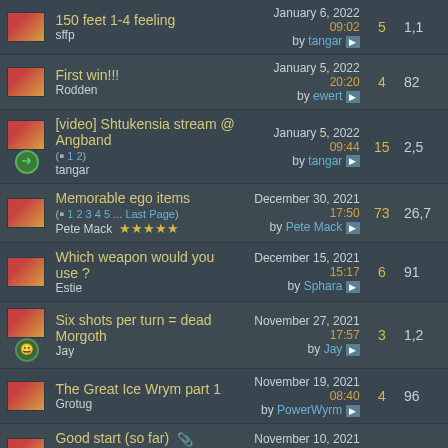| icon | title | last post | replies | views |
| --- | --- | --- | --- | --- |
| img | 150 feet 1-4 feeling
sffp | January 6, 2022 09:02
by tangar | 5 | 1,1 |
| img | First win!!!
Rodden | January 5, 2022 20:20
by ewert | 4 | 82 |
| img+go | [video] Shtukensia stream @ Angband (1 2)
tangar | January 5, 2022 09:44
by tangar | 15 | 2,5 |
| img | Memorable ego items (1 2 3 4 5 ... Last Page)
Pete Mack ★★★★★ | December 30, 2021 17:50
by Pete Mack | 73 | 26,7 |
| img | Which weapon would you use ?
Estie | December 15, 2021 15:17
by Sphara | 6 | 91 |
| img+smile | Six shots per turn = dead Morgoth
Jay | November 27, 2021 17:57
by Jay | 3 | 1,2 |
| img | The Great Ice Wrym part 1
Grotug | November 19, 2021 08:40
by PowerWyrm | 4 | 96 |
| img | Good start (so far) 📎 (1 2)
Ugramoth | November 10, 2021 16:55
by Estie | 15 | 2,4 |
| img | Would you use this cloak?
Ugramoth | November 6, 2021 20:21
by Nick | 7 | 1,0 |